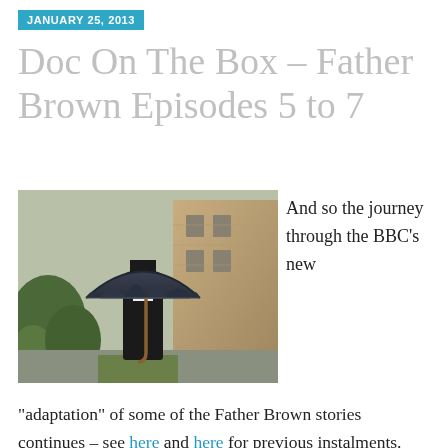JANUARY 25, 2013
Doc On The Box – Father Brown Episodes 5 to 7
[Figure (photo): A man dressed as a priest in black clothing and wide-brimmed hat holding a large dark open umbrella, standing in front of a stone building with green hedges/bushes to the left and a gravel path.]
And so the journey through the BBC's new
“adaptation” of some of the Father Brown stories continues – see here and here for previous instalments. We’re running out now of